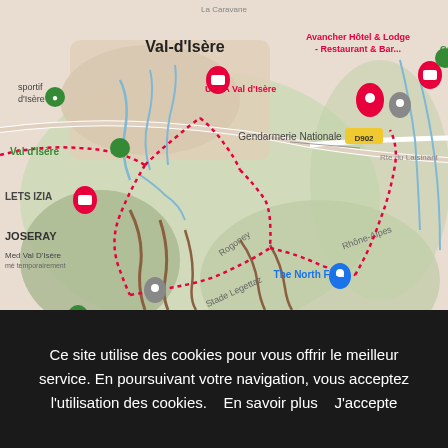[Figure (map): Google Maps screenshot showing Val-d'Isère area in France with red dotted route lines overlaid. Map shows locations including Val-d'Isère town, UCPA Val d'Isère, Avancher Hôtel & Lodge - Restaurant & Bar, Gendarmerie Nationale, JOSERAY, Med Val D'Isère, Le Chardon Mountain Lodges, The North Face store, road D902, Rte du Laisinant. Roads labeled include Rogoney, Stade Legettaz, Rhône-Alpes. Red dotted lines form a route/circuit through the area. Map features green place markers, pink hotel/restaurant markers, gray service markers, and a blue location pin at The North Face.]
Ce site utilise des cookies pour vous offrir le meilleur service. En poursuivant votre navigation, vous acceptez l'utilisation des cookies.    En savoir plus    J'accepte